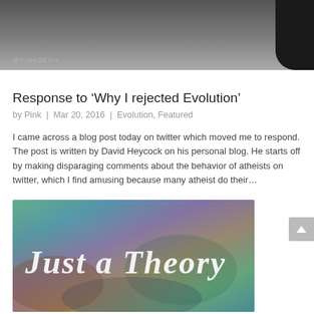[Figure (photo): Grayscale image at top of page, partially cropped, with a watermark text visible at lower left and a dark shape at right.]
Response to ‘Why I rejected Evolution’
by Pink | Mar 20, 2016 | Evolution, Featured
I came across a blog post today on twitter which moved me to respond. The post is written by David Heycock on his personal blog. He starts off by making disparaging comments about the behavior of atheists on twitter, which I find amusing because many atheist do their…
[Figure (photo): Colorful artistic image with text overlay reading 'Just a Theory' in white italic script font, on a teal/green/purple abstract background.]